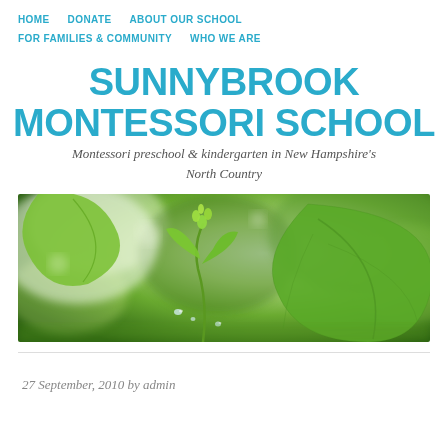HOME   DONATE   ABOUT OUR SCHOOL   FOR FAMILIES & COMMUNITY   WHO WE ARE
SUNNYBROOK MONTESSORI SCHOOL
Montessori preschool & kindergarten in New Hampshire's North Country
[Figure (photo): Close-up photo of green plant leaves and a small sprouting plant with droplets of water, blurred natural background]
27 September, 2010 by admin